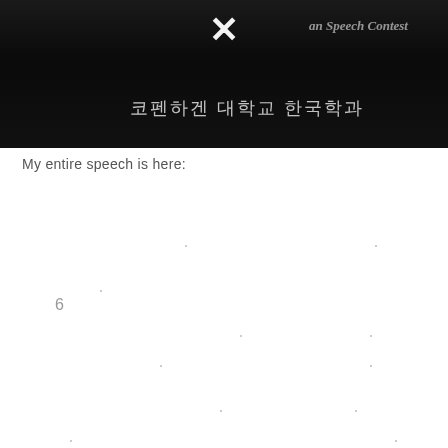[Figure (photo): Dark photo of a Korean speech contest setting. Banner text partially visible reading 'an Speech Contest' in English and Korean text '코펜하겐 대학교 한국학과' (Korean Studies at University of Copenhagen). An X mark overlay is displayed in white at the top center of the image.]
My entire speech is here: